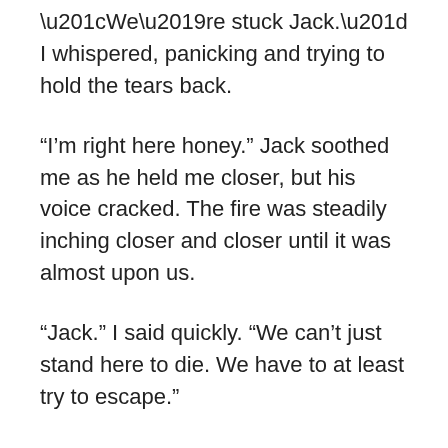“We’re stuck Jack.” I whispered, panicking and trying to hold the tears back.
“I’m right here honey.” Jack soothed me as he held me closer, but his voice cracked. The fire was steadily inching closer and closer until it was almost upon us.
“Jack.” I said quickly. “We can’t just stand here to die. We have to at least try to escape.”
“There’s nowhere to go Mar-” Jack started, but then stopped when he realized my plan. “Marcia, no. We’ll be killed, it’s too